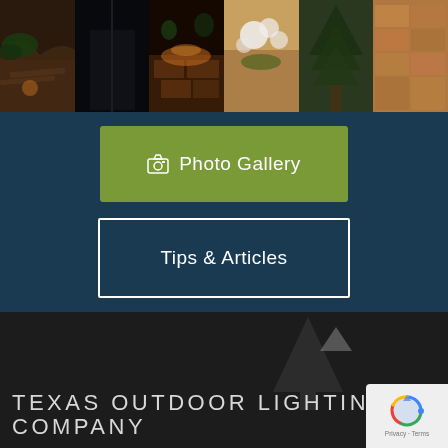[Figure (photo): Strip of 6 outdoor landscape lighting photos showing stone paths, plants, pavers illuminated at night]
[Figure (infographic): Dark teal section with two call-to-action buttons: green Photo Gallery button and outlined Tips & Articles button]
TEXAS OUTDOOR LIGHTING COMPANY